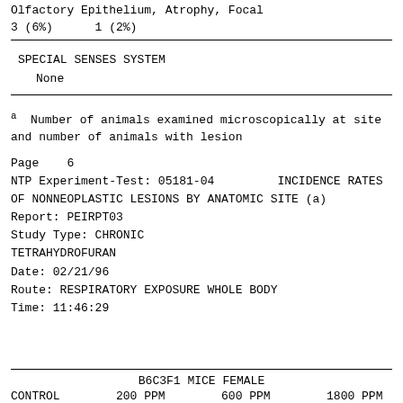Olfactory Epithelium, Atrophy, Focal
3 (6%)      1 (2%)
SPECIAL SENSES SYSTEM
None
a  Number of animals examined microscopically at site and number of animals with lesion
Page    6
NTP Experiment-Test: 05181-04        INCIDENCE RATES OF NONNEOPLASTIC LESIONS BY ANATOMIC SITE (a)
Report: PEIRPT03
Study Type: CHRONIC
TETRAHYDROFURAN
Date: 02/21/96
Route: RESPIRATORY EXPOSURE WHOLE BODY
Time: 11:46:29
B6C3F1 MICE FEMALE
CONTROL        200 PPM        600 PPM        1800 PPM